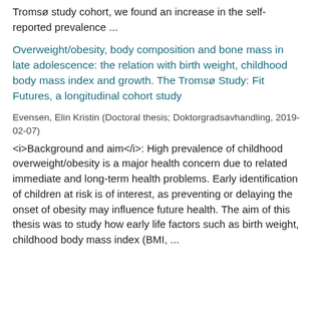Tromsø study cohort, we found an increase in the self-reported prevalence ...
Overweight/obesity, body composition and bone mass in late adolescence: the relation with birth weight, childhood body mass index and growth. The Tromsø Study: Fit Futures, a longitudinal cohort study
Evensen, Elin Kristin (Doctoral thesis; Doktorgradsavhandling, 2019-02-07)
<i>Background and aim</i>: High prevalence of childhood overweight/obesity is a major health concern due to related immediate and long-term health problems. Early identification of children at risk is of interest, as preventing or delaying the onset of obesity may influence future health. The aim of this thesis was to study how early life factors such as birth weight, childhood body mass index (BMI, ...